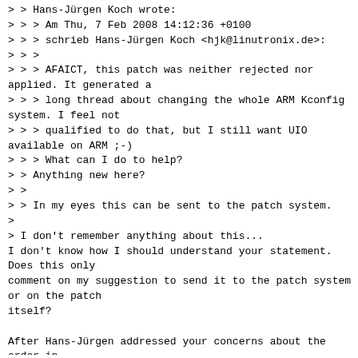> > Hans-Jürgen Koch wrote:
> > > Am Thu, 7 Feb 2008 14:12:36 +0100
> > > schrieb Hans-Jürgen Koch <hjk@linutronix.de>:
> > >
> > > AFAICT, this patch was neither rejected nor applied. It generated a
> > > long thread about changing the whole ARM Kconfig system. I feel not
> > > qualified to do that, but I still want UIO available on ARM ;-)
> > > What can I do to help?
> > Anything new here?
> >
> > In my eyes this can be sent to the patch system.
>
> I don't remember anything about this...
I don't know how I should understand your statement. Does this only
comment on my suggestion to send it to the patch system or on the patch
itself?

After Hans-Jürgen addressed your concerns about the order in
arch/arm/Kconfig compared to drivers/Kconfig there was no addional
feedback (apart from the discussion about including drivers/Kconfig in
arch/arm/Kconfig).